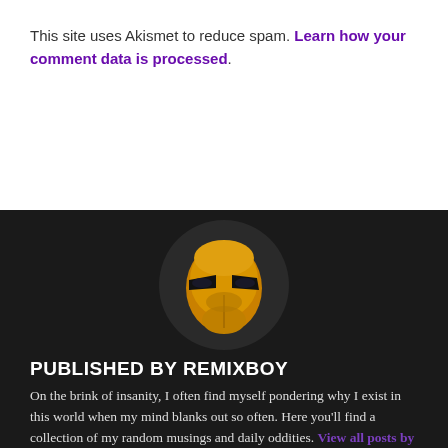This site uses Akismet to reduce spam. Learn how your comment data is processed.
[Figure (photo): Iron Man helmet 3D render on dark background — golden yellow helmet with dark visor eyes and red accent on top, shown as circular avatar]
PUBLISHED BY REMIXBOY
On the brink of insanity, I often find myself pondering why I exist in this world when my mind blanks out so often. Here you'll find a collection of my random musings and daily oddities. View all posts by remixboy